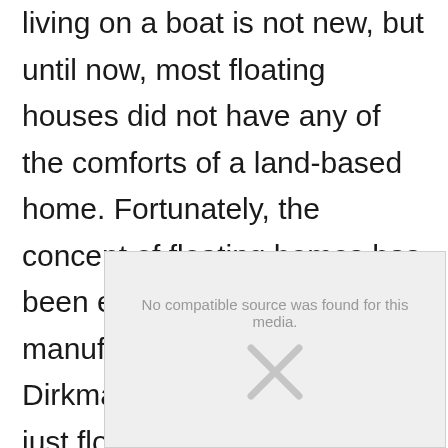living on a boat is not new, but until now, most floating houses did not have any of the comforts of a land-based home. Fortunately, the concept of floating homes has been embraced by some manufacturers, including Dirkmarine, which offers not just floating homes, but offices, showrooms, restaurants, and restaurants.
[Figure (other): Video overlay with 'No compatible source was found for this media.' message and an X icon placeholder, partially overlapping the text.]